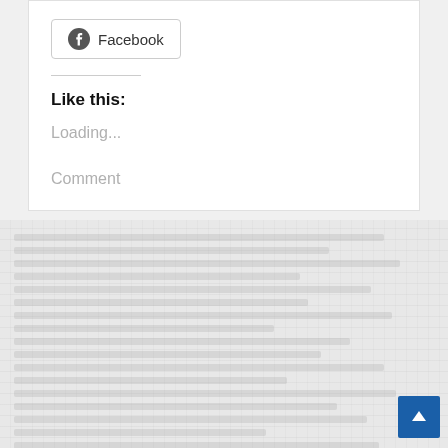[Figure (other): Facebook share button with Facebook logo icon]
Like this:
Loading...
Comment
[Figure (other): Background texture area with blurred/watermarked text content and a blue scroll-to-top button in the bottom right corner]